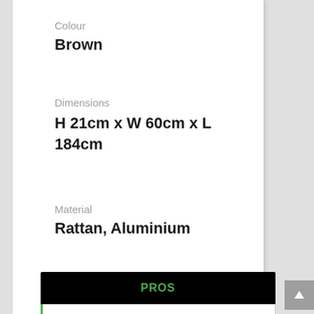Colour
Brown
Dimensions
H 21cm x W 60cm x L 184cm
Material
Rattan, Aluminium
| PROS |
| --- |
| Simple to put up and maintain, easy to clean |